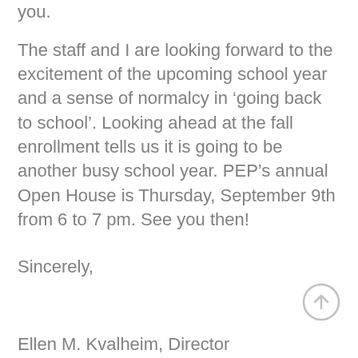you.
The staff and I are looking forward to the excitement of the upcoming school year and a sense of normalcy in ‘going back to school’. Looking ahead at the fall enrollment tells us it is going to be another busy school year. PEP’s annual Open House is Thursday, September 9th from 6 to 7 pm. See you then!
Sincerely,
Ellen M. Kvalheim, Director